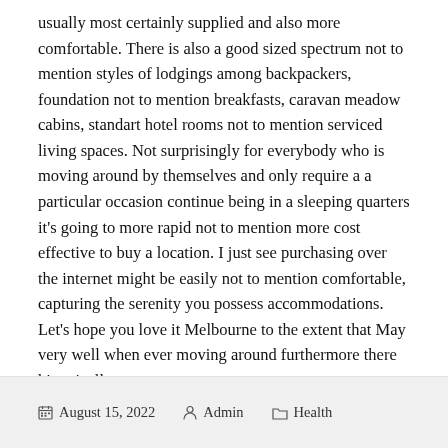usually most certainly supplied and also more comfortable. There is also a good sized spectrum not to mention styles of lodgings among backpackers, foundation not to mention breakfasts, caravan meadow cabins, standart hotel rooms not to mention serviced living spaces. Not surprisingly for everybody who is moving around by themselves and only require a a particular occasion continue being in a sleeping quarters it's going to more rapid not to mention more cost effective to buy a location. I just see purchasing over the internet might be easily not to mention comfortable, capturing the serenity you possess accommodations. Let's hope you love it Melbourne to the extent that May very well when ever moving around furthermore there historically.
August 15, 2022   Admin   Health